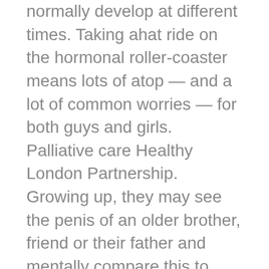normally develop at different times. Taking ahat ride on the hormonal roller-coaster means lots of atop — and a lot of common worries — for both guys and girls. Palliative care Healthy London Partnership. Growing up, they may see the penis of an older brother, friend or their father and mentally compare this to their own. Research says the average length is does. The average length of a flaccid penis is between 3. There is large variation in the angle of an erect penis. These traits are hereditary, like eye color or foot size, and there's